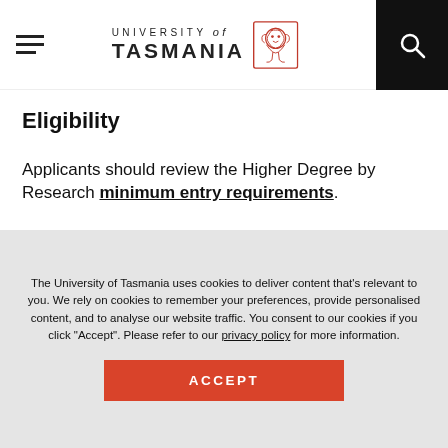University of Tasmania
Eligibility
Applicants should review the Higher Degree by Research minimum entry requirements.
Additional eligibility criteria specific to this project/scholarship:
The University of Tasmania uses cookies to deliver content that's relevant to you. We rely on cookies to remember your preferences, provide personalised content, and to analyse our website traffic. You consent to our cookies if you click "Accept". Please refer to our privacy policy for more information.
ACCEPT